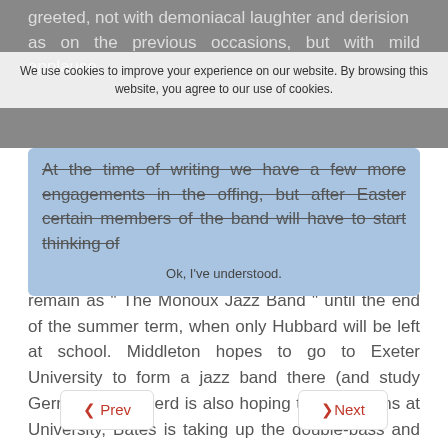greeted, not with demoniacal laughter and derision as on the previous occasions, but with mild applause.
We use cookies to improve your experience on our website. By browsing this website, you agree to our use of cookies.
Ok, I've understood.
At the time of writing we have a few more engagements in the offing, but after Easter certain members of the band will have to start thinking of revision for examinations. We shall attempt to remain as " The Monoux Jazz Band " until the end of the summer term, when only Hubbard will be left at school. Middleton hopes to go to Exeter University to form a jazz band there (and study German). Shepherd is also hoping to play drums at University, Bates is taking up the double-bass and Hall is already at work. We shall still occasionally meet, however, in order to revive very happy memories of an interesting and most enjoyable partnership.
❮ Prev
❯ Next